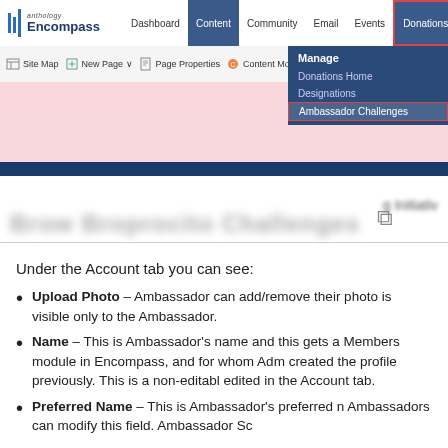[Figure (screenshot): Anthology Encompass web application navigation bar showing Dashboard, Content (active), Community, Email, Events, Donations (highlighted with red border), Membership tabs. A dropdown under Donations shows: Manage section with Donations Home, Designations, Ambassador Challenges (highlighted with red border). Sub-toolbar shows Site Map, New Page, Page Properties, Content Modules buttons. Below is a pink content area, a dark blue bar, and a blurred page heading area.]
Under the Account tab you can see:
Upload Photo – Ambassador can add/remove their photo is visible only to the Ambassador.
Name – This is Ambassador's name and this gets a Members module in Encompass, and for whom Adm created the profile previously. This is a non-editabl edited in the Account tab.
Preferred Name – This is Ambassador's preferred n Ambassadors can modify this field. Ambassador Sc